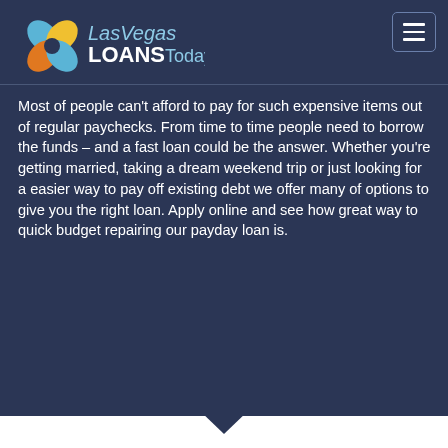[Figure (logo): Las Vegas Loans Today logo with four-leaf clover icon in blue, yellow, and orange, with stylized text]
Most of people can't afford to pay for such expensive items out of regular paychecks. From time to time people need to borrow the funds – and a fast loan could be the answer. Whether you're getting married, taking a dream weekend trip or just looking for a easier way to pay off existing debt we offer many of options to give you the right loan. Apply online and see how great way to quick budget repairing our payday loan is.